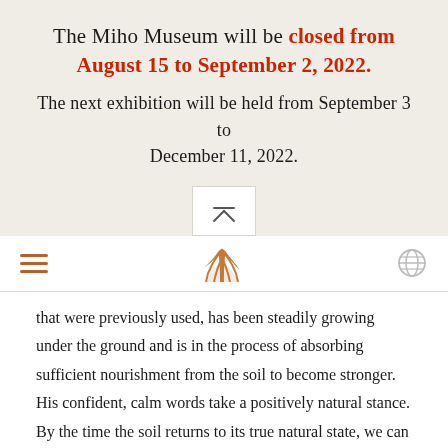The Miho Museum will be closed from August 15 to September 2, 2022. The next exhibition will be held from September 3 to December 11, 2022.
[Figure (other): Navigation bar with hamburger menu icon on the left, Miho Museum logo (stylized bird/wing shape) in the center, and globe/language icon on the right. A back-to-top arrow icon box is above the navbar.]
that were previously used, has been steadily growing under the ground and is in the process of absorbing sufficient nourishment from the soil to become stronger. His confident, calm words take a positively natural stance. By the time the soil returns to its true natural state, we can look forward to the coffee which will fully absorb the energy of the earth.